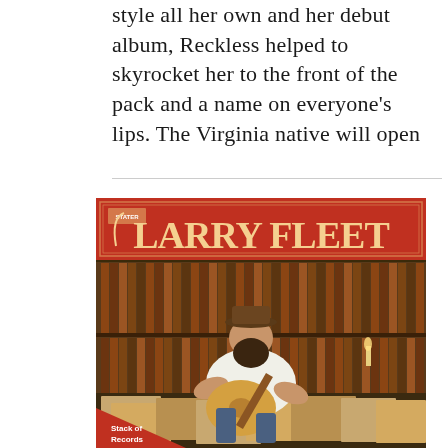style all her own and her debut album, Reckless helped to skyrocket her to the front of the pack and a name on everyone's lips. The Virginia native will open
[Figure (photo): Larry Fleet album cover titled 'Stack of Records' showing a bearded man in a white shirt and brown hat sitting on the floor playing an acoustic guitar, surrounded by vinyl records, with a warm red banner at the top displaying 'Larry Fleet' in retro typography and a 'Stack of Records' label at the bottom left.]